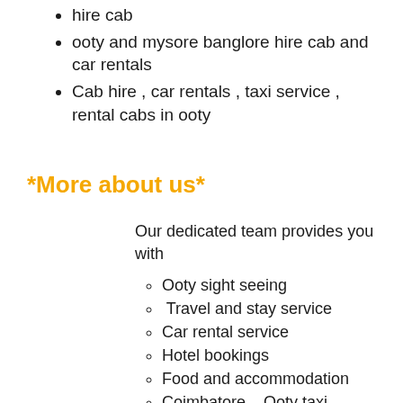hire cab
ooty and mysore banglore hire cab and car rentals
Cab hire , car rentals , taxi service , rental cabs in ooty
*More about us*
Our dedicated team provides you with
Ooty sight seeing
Travel and stay service
Car rental service
Hotel bookings
Food and accommodation
Coimbatore – Ooty taxi